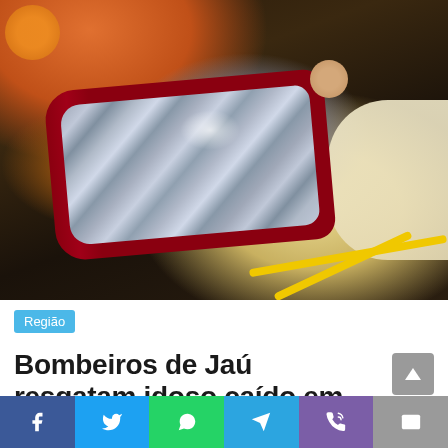[Figure (photo): Rescue scene showing an elderly person wrapped in emergency foil blanket on a stretcher, with yellow cable/tubing visible; orange object in top left corner, cream padding on right side. Firefighters rescue operation in low light conditions.]
Região
Bombeiros de Jaú resgatam idoso caído em
[Figure (infographic): Social media share bar with icons for Facebook, Twitter, WhatsApp, Telegram, Phone/Viber, and Email]